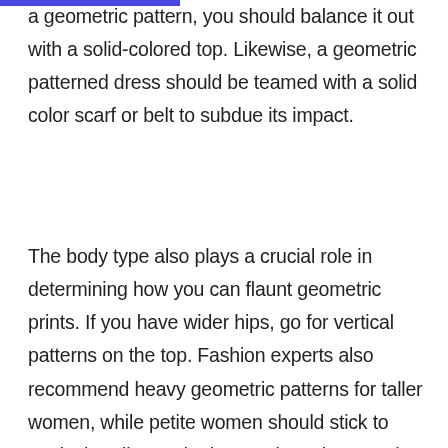a geometric pattern, you should balance it out with a solid-colored top. Likewise, a geometric patterned dress should be teamed with a solid color scarf or belt to subdue its impact.
The body type also plays a crucial role in determining how you can flaunt geometric prints. If you have wider hips, go for vertical patterns on the top. Fashion experts also recommend heavy geometric patterns for taller women, while petite women should stick to vertical or diagonal prints as they elongate the torso for a flattering look. Likewise, horizontal stripes are tricky, as these